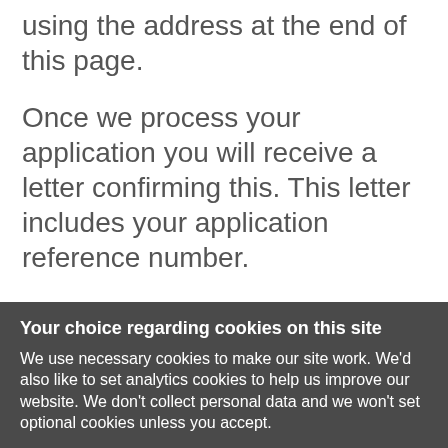using the address at the end of this page.
Once we process your application you will receive a letter confirming this. This letter includes your application reference number.
If you are already on the waiting list and your circumstances have changed, or you wish to update your application, you must
Your choice regarding cookies on this site
We use necessary cookies to make our site work. We'd also like to set analytics cookies to help us improve our website. We don't collect personal data and we won't set optional cookies unless you accept.